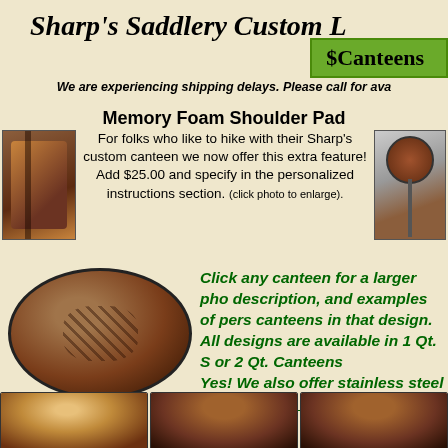Sharp's Saddlery Custom L
Canteens
We are experiencing shipping delays. Please call for ava
Memory Foam Shoulder Pad
[Figure (photo): Leather strap/canteen shoulder pad close-up photo]
For folks who like to hike with their Sharp's custom canteen we now offer this extra feature! Add $25.00 and specify in the personalized instructions section. (click photo to enlarge).
[Figure (photo): Canteen with shoulder pad hanging, side view photo]
[Figure (photo): Round leather canteen with basket weave pattern and pouch]
New Item! Canteen with Pouch
Click any canteen for a larger photo, description, and examples of personalized canteens in that design. All designs are available in 1 Qt. Size or 2 Qt. Canteens Yes! We also offer stainless steel and Thermos Bottles.
[Figure (photo): Floral tooled leather canteen - bottom row left]
[Figure (photo): Saddle design tooled leather canteen - bottom row center]
[Figure (photo): Horse design tooled leather canteen - bottom row right]